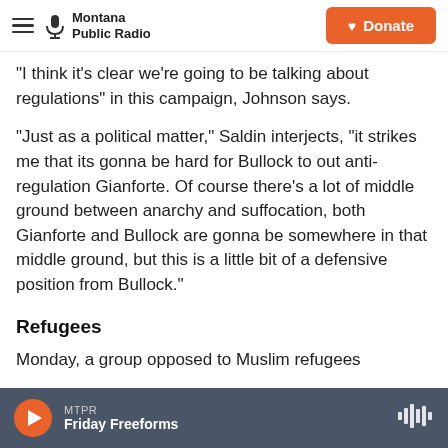Montana Public Radio | Donate
"I think it's clear we're going to be talking about regulations" in this campaign, Johnson says.
"Just as a political matter," Saldin interjects, "it strikes me that its gonna be hard for Bullock to out anti-regulation Gianforte. Of course there's a lot of middle ground between anarchy and suffocation, both Gianforte and Bullock are gonna be somewhere in that middle ground, but this is a little bit of a defensive position from Bullock."
Refugees
Monday, a group opposed to Muslim refugees
MTPR | Friday Freeforms